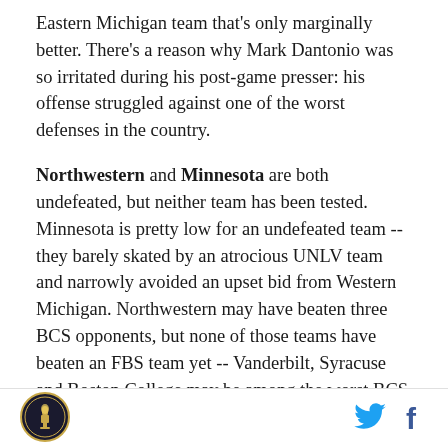Eastern Michigan team that's only marginally better. There's a reason why Mark Dantonio was so irritated during his post-game presser: his offense struggled against one of the worst defenses in the country.
Northwestern and Minnesota are both undefeated, but neither team has been tested. Minnesota is pretty low for an undefeated team -- they barely skated by an atrocious UNLV team and narrowly avoided an upset bid from Western Michigan. Northwestern may have beaten three BCS opponents, but none of those teams have beaten an FBS team yet -- Vanderbilt, Syracuse and Boston College may be among the worst BCS teams in the country. Still, Northwestern is undefeated, which is more than almost anyone else in the
[Figure (logo): Circular logo with a torch or lantern icon, gold/dark colors]
[Figure (logo): Twitter bird icon in blue]
[Figure (logo): Facebook f icon in dark blue]